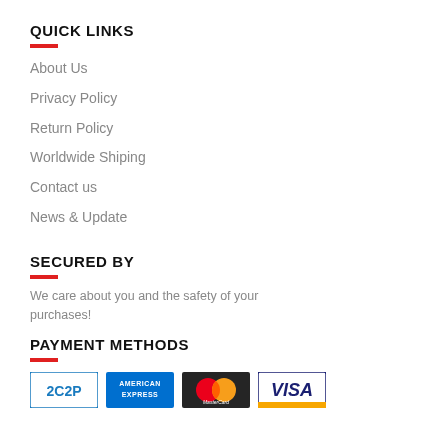QUICK LINKS
About Us
Privacy Policy
Return Policy
Worldwide Shiping
Contact us
News & Update
SECURED BY
We care about you and the safety of your purchases!
PAYMENT METHODS
[Figure (logo): Payment method logos: 2C2P, American Express, MasterCard, Visa]